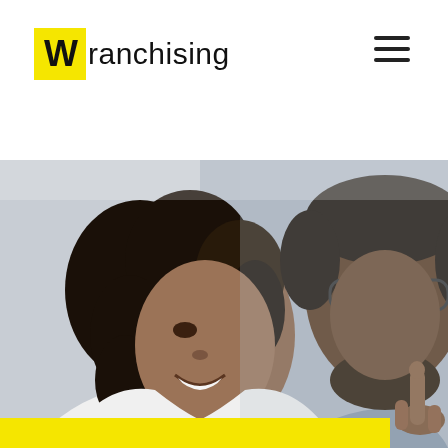Wranchising
[Figure (logo): Wranchising logo with yellow W square and 'ranchising' text beside it]
[Figure (photo): Two Black professionals in a business conversation. A woman with curly hair smiling in profile on the left, and a man wearing glasses in the background on the right making a pointing gesture.]
[Figure (other): Yellow horizontal bar at bottom of page]